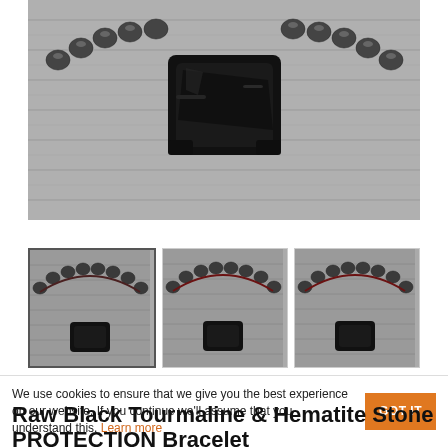[Figure (photo): Main product photo: a bracelet with hematite beads and a large raw black tourmaline stone center piece, laid flat on a wood-grain surface.]
[Figure (photo): Thumbnail 1: bracelet with dark macrame cord and hematite beads with black tourmaline center, on wooden surface.]
[Figure (photo): Thumbnail 2: bracelet with dark red/maroon macrame cord and hematite beads with black tourmaline center piece.]
[Figure (photo): Thumbnail 3: bracelet with dark red/maroon macrame cord and hematite beads with black tourmaline center piece, slightly different angle.]
We use cookies to ensure that we give you the best experience on our website. If you continue we'll assume that you understand this. Learn more
Raw Black Tourmaline & Hematite Stone PROTECTION Bracelet